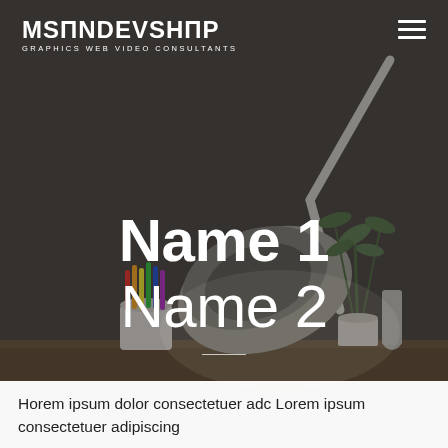[Figure (photo): Dark moody desk scene with a white articulated desk lamp angled from the right, a potted plant in the center background, a cup of colorful markers on the left, all on a wooden desk surface against a dark grey wall background.]
MSONDEVSHOP GRAPHICS WEB VIDEO CONSULTANTS
Name 1
Name 2
Horem ipsum dolor consectetuer adc Lorem ipsum consectetuer adipiscing